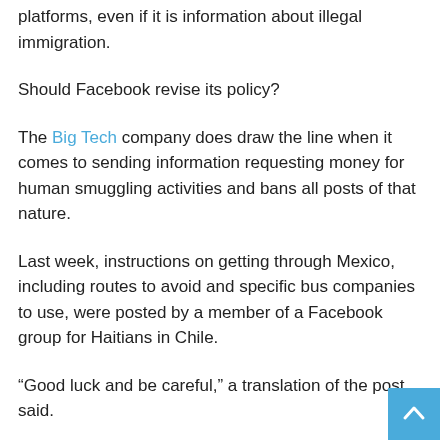platforms, even if it is information about illegal immigration.
Should Facebook revise its policy?
The Big Tech company does draw the line when it comes to sending information requesting money for human smuggling activities and bans all posts of that nature.
Last week, instructions on getting through Mexico, including routes to avoid and specific bus companies to use, were posted by a member of a Facebook group for Haitians in Chile.
“Good luck and be careful,” a translation of the post said.
Migrants have also been using YouTube to share information on how to get into the U.S.
The AP also highlighted the story of Robins Exile, who left